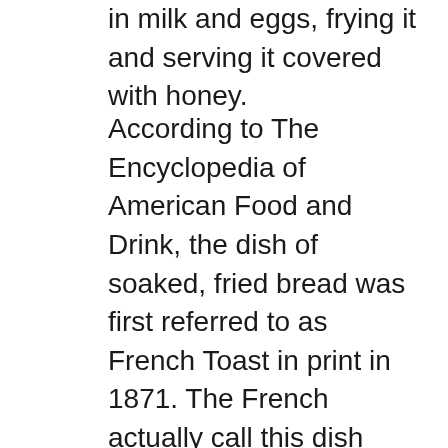in milk and eggs, frying it and serving it covered with honey.
According to The Encyclopedia of American Food and Drink, the dish of soaked, fried bread was first referred to as French Toast in print in 1871. The French actually call this dish pain perdu, or “lost bread,” meaning the bread is lost to staleness but can be revived with moisture and cooking. To this day pain perdu is a popular New Orleans breakfast dish. In 1887 a recipe for American Toast appeared in